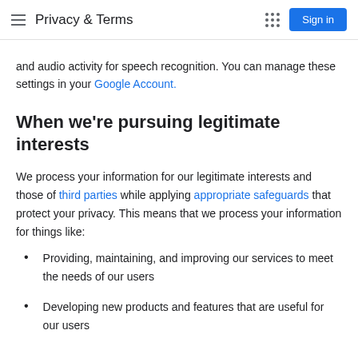Privacy & Terms
and audio activity for speech recognition. You can manage these settings in your Google Account.
When we're pursuing legitimate interests
We process your information for our legitimate interests and those of third parties while applying appropriate safeguards that protect your privacy. This means that we process your information for things like:
Providing, maintaining, and improving our services to meet the needs of our users
Developing new products and features that are useful for our users